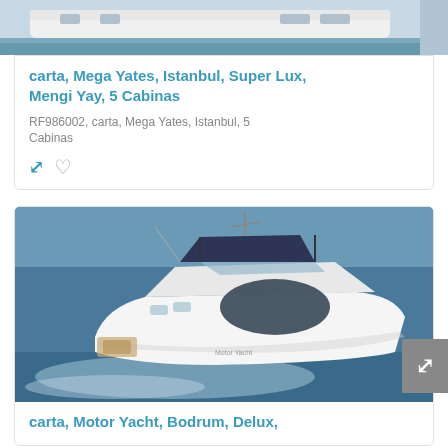[Figure (photo): Partial view of a white mega yacht on water, top portion cropped]
carta, Mega Yates, Istanbul, Super Lux, Mengi Yay, 5 Cabinas
RF986002, carta, Mega Yates, Istanbul, 5 Cabinas
[Figure (photo): White motor yacht speeding on blue sea with bimini top, rear view]
carta, Motor Yacht, Bodrum, Delux,